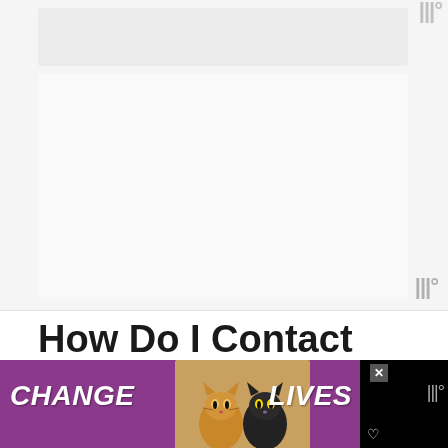[Figure (other): Advertisement placeholder — large gray/white rectangle with watermark icon in top-right corner]
How Do I Contact Best Buy to Complain?
There are multiple ways to contact Best Buy to file a complaint or make a su... or
[Figure (other): Banner advertisement with purple background showing two cats (orange tabby and black cat), text CHANGE LIVES in white italic bold, close button, and small watermark icon]